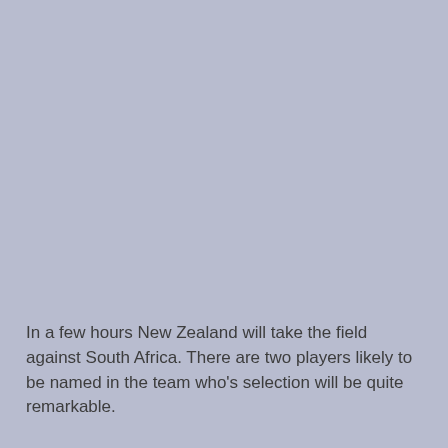In a few hours New Zealand will take the field against South Africa. There are two players likely to be named in the team who's selection will be quite remarkable.